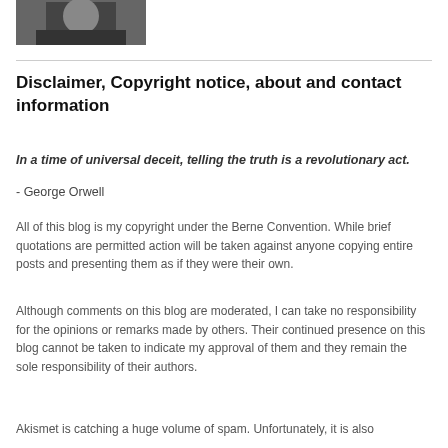[Figure (photo): Black and white photograph of a person partially visible at top of page]
Disclaimer, Copyright notice, about and contact information
In a time of universal deceit, telling the truth is a revolutionary act.
- George Orwell
All of this blog is my copyright under the Berne Convention. While brief quotations are permitted action will be taken against anyone copying entire posts and presenting them as if they were their own.
Although comments on this blog are moderated, I can take no responsibility for the opinions or remarks made by others. Their continued presence on this blog cannot be taken to indicate my approval of them and they remain the sole responsibility of their authors.
Akismet is catching a huge volume of spam. Unfortunately, it is also